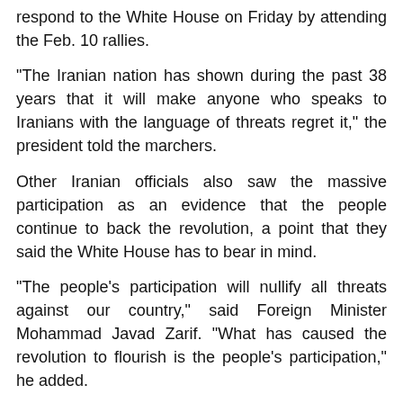respond to the White House on Friday by attending the Feb. 10 rallies.
"The Iranian nation has shown during the past 38 years that it will make anyone who speaks to Iranians with the language of threats regret it," the president told the marchers.
Other Iranian officials also saw the massive participation as an evidence that the people continue to back the revolution, a point that they said the White House has to bear in mind.
"The people's participation will nullify all threats against our country," said Foreign Minister Mohammad Javad Zarif. "What has caused the revolution to flourish is the people's participation," he added.
"The people's support for the establishment is a message to Western countries," nuclear chief Ali Akbar Salehi highlighted.
"Doubtlessly, the Islamic revolution was the most important incident of the century that shook the world's structure," Parliament Speaker Ali Larijani stated.